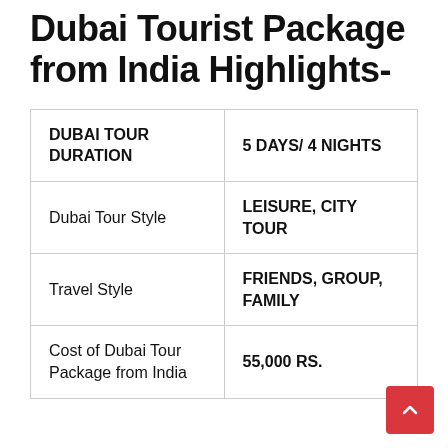Dubai Tourist Package from India Highlights-
| DUBAI TOUR DURATION | 5 DAYS/ 4 NIGHTS |
| Dubai Tour Style | LEISURE, CITY TOUR |
| Travel Style | FRIENDS, GROUP, FAMILY |
| Cost of Dubai Tour Package from India | 55,000 RS. |